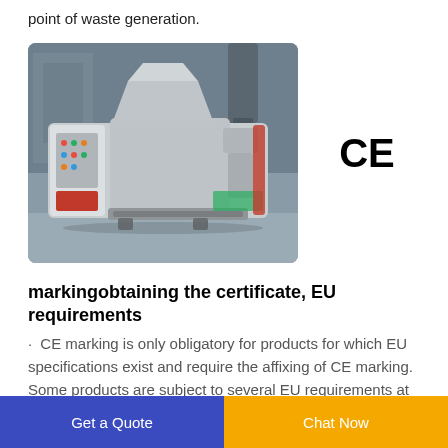point of waste generation.
[Figure (photo): Industrial machine/equipment photographed in a warehouse/factory setting. Large grey and white mechanical unit with conveyor and control panel.]
CE
markingobtaining the certificate, EU requirements
CE marking is only obligatory for products for which EU specifications exist and require the affixing of CE marking. Some products are subject to several EU requirements at the same time. You must make
Get a Quote  Chat Now